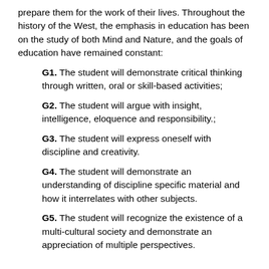prepare them for the work of their lives. Throughout the history of the West, the emphasis in education has been on the study of both Mind and Nature, and the goals of education have remained constant:
G1. The student will demonstrate critical thinking through written, oral or skill-based activities;
G2. The student will argue with insight, intelligence, eloquence and responsibility.;
G3. The student will express oneself with discipline and creativity.
G4. The student will demonstrate an understanding of discipline specific material and how it interrelates with other subjects.
G5. The student will recognize the existence of a multi-cultural society and demonstrate an appreciation of multiple perspectives.